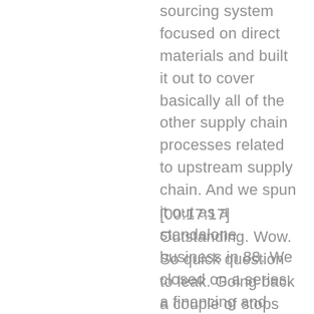sourcing system focused on direct materials and built it out to cover basically all of the other supply chain processes related to upstream supply chain. And we spun it out as a standalone business in 88. We closed on a series, a financing and been off to the races since about September of last year.
[00:17:17] Outstanding. Wow. So quick question to leak. Going back a couple of stops leading R&D in a technology space. Mm-Hmm. And of course, also being an entrepreneur, you come at